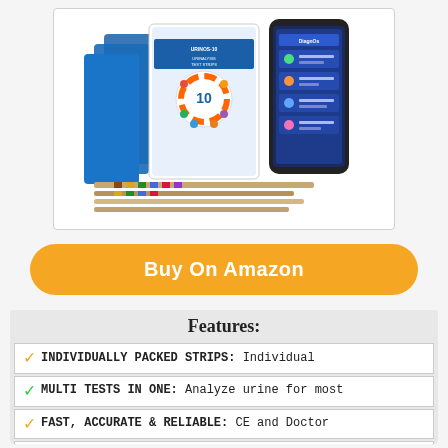[Figure (photo): Product photo showing DiagnOs Urinos-10 urine analysis test strips box, individual foil packets, color comparison chart, and a smartphone displaying the mobile app, with test strip samples laid out in front.]
Buy On Amazon
Features:
INDIVIDUALLY PACKED STRIPS: Individual
MULTI TESTS IN ONE: Analyze urine for most
FAST, ACCURATE & RELIABLE: CE and Doctor
GET HIGH QUALITY TESTING FROM HOME:
MOBILE APP: Use our free mobile app (Android